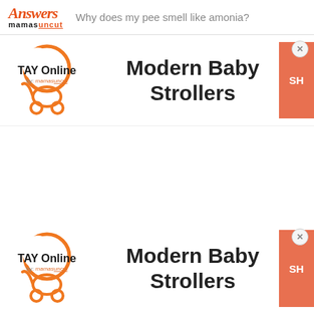Answers mamasuncut — Why does my pee smell like amonia?
[Figure (logo): TAY Online by mamas logo with stroller icon and Modern Baby Strollers ad banner with orange shop button]
[Figure (logo): TAY Online by mamas logo with stroller icon and Modern Baby Strollers ad banner with orange shop button (second instance)]